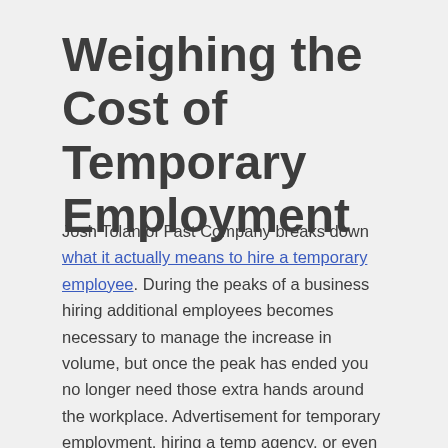Weighing the Cost of Temporary Employment
Josh Tolan of Fast Company breaks down what it actually means to hire a temporary employee. During the peaks of a business hiring additional employees becomes necessary to manage the increase in volume, but once the peak has ended you no longer need those extra hands around the workplace. Advertisement for temporary employment, hiring a temp agency, or even purchasing additional resources such as tools and equipment can easily rack up costs. While this may be ideal in the short span of a trend, often times this model ends up being more cost